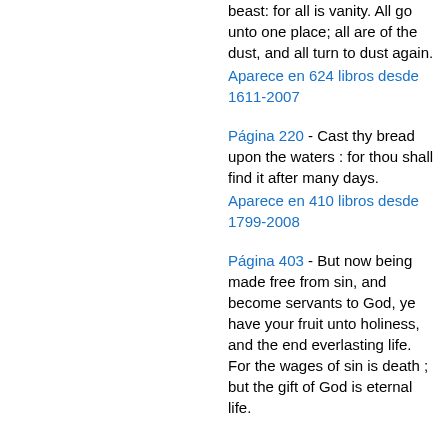beast: for all is vanity. All go unto one place; all are of the dust, and all turn to dust again.
Aparece en 624 libros desde 1611-2007
Página 220 - Cast thy bread upon the waters : for thou shall find it after many days.
Aparece en 410 libros desde 1799-2008
Página 403 - But now being made free from sin, and become servants to God, ye have your fruit unto holiness, and the end everlasting life. For the wages of sin is death ; but the gift of God is eternal life.